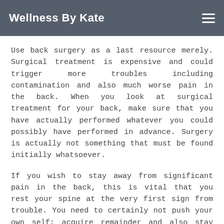Wellness By Kate
Use back surgery as a last resource merely. Surgical treatment is expensive and could trigger more troubles including contamination and also much worse pain in the back. When you look at surgical treatment for your back, make sure that you have actually performed whatever you could possibly have performed in advance. Surgery is actually not something that must be found initially whatsoever.
If you wish to stay away from significant pain in the back, this is vital that you rest your spine at the very first sign from trouble. You need to certainly not push your own self; acquire remainder and also stay away from exhausting activity once you start to experience ache. Reclaiming ache truly straight coming from the outset can easily avoid that from becoming severe.
When coping with neck and back pain, the first as well as utmost significant thing to perform is actually to consult your medical